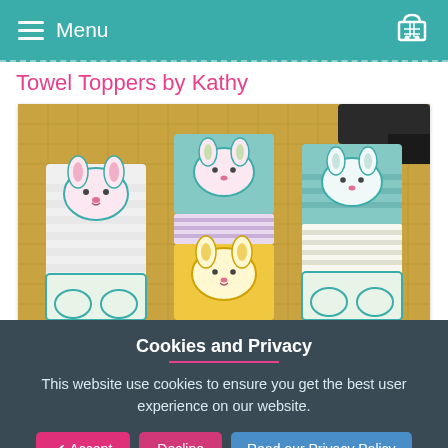Menu
Towel Toppers by Kathy
[Figure (photo): Three Easter bunny towel toppers laid flat on a cutting mat. Each topper features an embroidered bunny face applique and is attached to a folded kitchen towel. Left topper has a lavender/white bunny on white towel. Center has teal bunnies on colorful striped towels including a yellow one in front. Right has teal/white bunny on teal towel.]
Cookies and Privacy
This website use cookies to ensure you get the best user experience on our website.
✔ Accept
Decline
Read our Privacy Policy